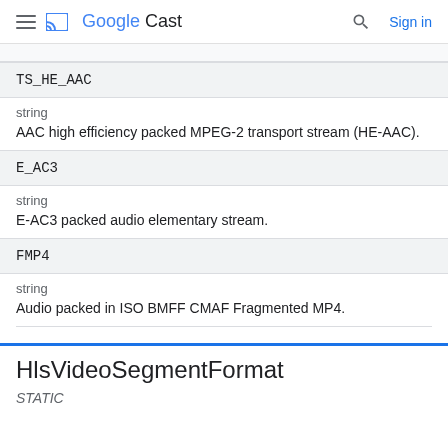Google Cast
TS_HE_AAC
string
AAC high efficiency packed MPEG-2 transport stream (HE-AAC).
E_AC3
string
E-AC3 packed audio elementary stream.
FMP4
string
Audio packed in ISO BMFF CMAF Fragmented MP4.
HlsVideoSegmentFormat
STATIC